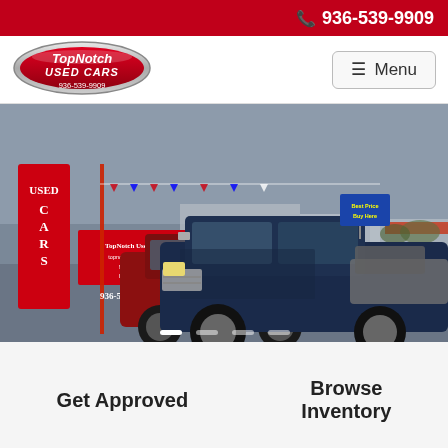📞 936-539-9909
[Figure (logo): TopNotch Used Cars oval logo with red and silver coloring, phone number 936-539-9909]
≡ Menu
[Figure (photo): Car dealership lot showing multiple trucks including a blue Ford F-150 in foreground, red truck behind, with Used Cars banner sign and TopNotch Used Cars signage, 936-539-9909 phone number visible]
Get Approved
Browse Inventory